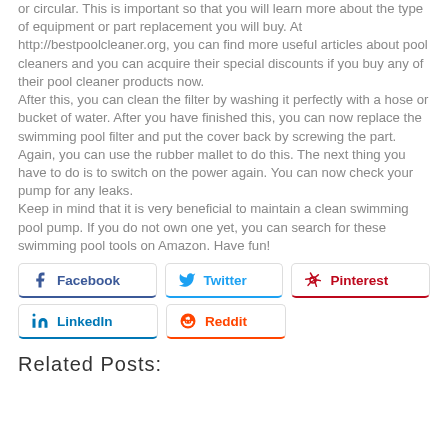or circular. This is important so that you will learn more about the type of equipment or part replacement you will buy. At http://bestpoolcleaner.org, you can find more useful articles about pool cleaners and you can acquire their special discounts if you buy any of their pool cleaner products now. After this, you can clean the filter by washing it perfectly with a hose or bucket of water. After you have finished this, you can now replace the swimming pool filter and put the cover back by screwing the part. Again, you can use the rubber mallet to do this. The next thing you have to do is to switch on the power again. You can now check your pump for any leaks. Keep in mind that it is very beneficial to maintain a clean swimming pool pump. If you do not own one yet, you can search for these swimming pool tools on Amazon. Have fun!
[Figure (other): Social sharing buttons: Facebook, Twitter, Pinterest, LinkedIn, Reddit]
Related Posts: